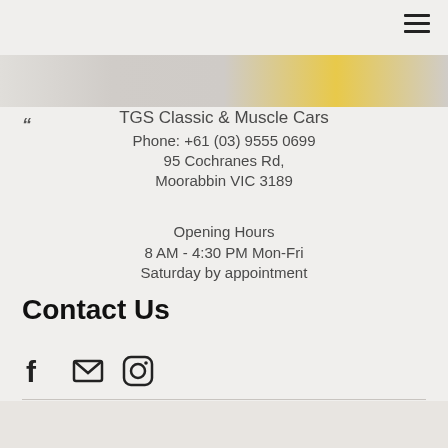[Figure (screenshot): Top navigation bar with hamburger menu icon in top right corner]
[Figure (photo): Partial image strip showing classic/muscle cars]
"
TGS Classic & Muscle Cars
Phone: +61 (03) 9555 0699
95 Cochranes Rd,
Moorabbin VIC 3189
Opening Hours
8 AM - 4:30 PM Mon-Fri
Saturday by appointment
Contact Us
[Figure (infographic): Social media icons: Facebook, Email/Mail, Instagram]